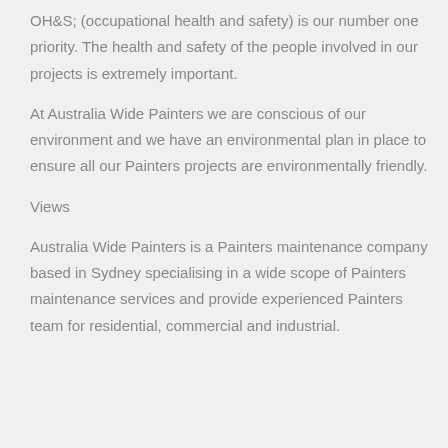OH&S; (occupational health and safety) is our number one priority. The health and safety of the people involved in our projects is extremely important.
At Australia Wide Painters we are conscious of our environment and we have an environmental plan in place to ensure all our Painters projects are environmentally friendly.
Views
Australia Wide Painters is a Painters maintenance company based in Sydney specialising in a wide scope of Painters maintenance services and provide experienced Painters team for residential, commercial and industrial.